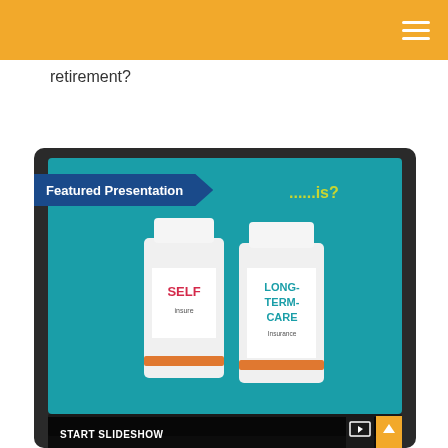retirement?
[Figure (screenshot): Screenshot of a tablet showing a presentation with two pill bottles labeled 'SELF insure' and 'LONG-TERM-CARE Insurance' on a teal background. Overlaid with a blue 'Featured Presentation' banner and 'START SLIDESHOW' text at the bottom.]